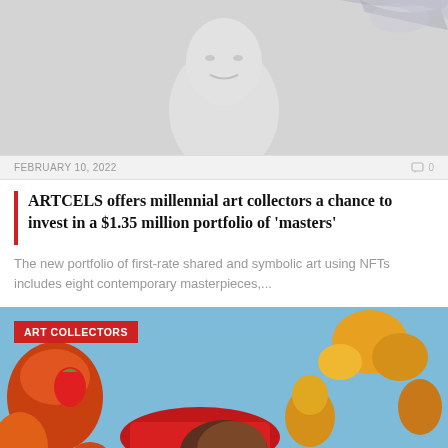[Figure (photo): A white plaster or clay sculptured face/bust with metallic silver abstract element in background]
FEBRUARY 10, 2022 0
ARTCELS offers millennial art collectors a chance to invest in a $1.35 million portfolio of ‘masters’
The new portfolio of first-rate shared and symbolic art using NFTs includes eight contemporary masterpieces,...
[Figure (photo): Colorful illustration background with cartoon-style food and decorative elements, with a person's face visible in the lower center. Red tag overlay reading ART COLLECTORS.]